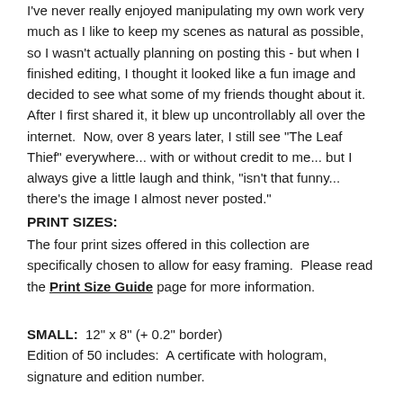I've never really enjoyed manipulating my own work very much as I like to keep my scenes as natural as possible, so I wasn't actually planning on posting this - but when I finished editing, I thought it looked like a fun image and decided to see what some of my friends thought about it.  After I first shared it, it blew up uncontrollably all over the internet.  Now, over 8 years later, I still see "The Leaf Thief" everywhere... with or without credit to me... but I always give a little laugh and think, "isn't that funny... there's the image I almost never posted."
PRINT SIZES:
The four print sizes offered in this collection are specifically chosen to allow for easy framing.  Please read the Print Size Guide page for more information.
SMALL:  12" x 8" (+ 0.2" border)
Edition of 50 includes:  A certificate with hologram, signature and edition number.